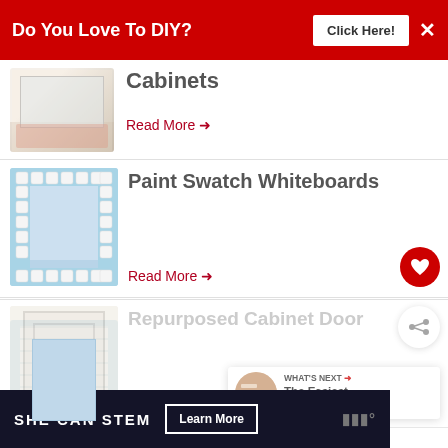[Figure (infographic): Red advertisement banner: 'Do You Love To DIY?' with 'Click Here!' button and X close button]
[Figure (photo): Partial image of white kitchen cabinets]
Cabinets
Read More →
[Figure (photo): Paint swatch whiteboard frame made of white paint chip squares on light blue background]
Paint Swatch Whiteboards
Read More →
[Figure (photo): Repurposed cabinet door, white panel door]
Repurposed Cabinet Door
Read More →
[Figure (infographic): What's Next widget: 'The Easiest Way To Rep...']
[Figure (infographic): Bottom banner ad: SHE CAN STEM, Learn More button]